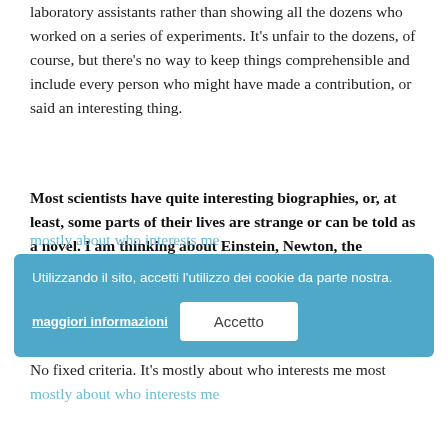laboratory assistants rather than showing all the dozens who worked on a series of experiments. It's unfair to the dozens, of course, but there's no way to keep things comprehensible and include every person who might have made a contribution, or said an interesting thing.
Most scientists have quite interesting biographies, or, at least, some parts of their lives are strange or can be told as a novel. I am thinking about Einstein, Newton, the Bernoulli Family. How and why do you choose the persons you write about? Do you have fixed criteria?
No fixed criteria. It's mostly about who interests me most... They also have to be worthy of attention, and sometimes I'm not the best person to write that book either because I wouldn't do a good job, or I can't find the right angle from which to tell their story.